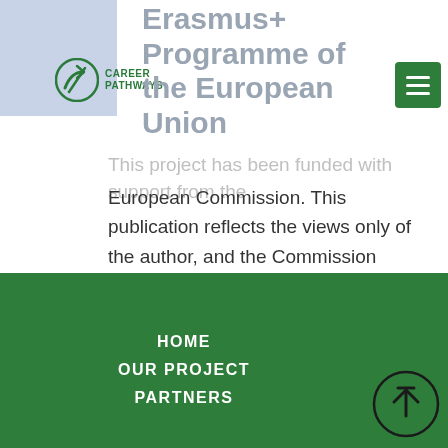[Figure (logo): Career Pathways logo with circular arrow icon and text]
Co-funded by the Erasmus+ Programme of the European Union
This project has been funded with support from the European Commission. This publication reflects the views only of the author, and the Commission cannot be held responsible for any use which may be made of the information contained therein.
HOME  OUR PROJECT  PARTNERS